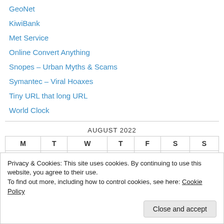GeoNet
KiwiBank
Met Service
Online Convert Anything
Snopes – Urban Myths & Scams
Symantec – Viral Hoaxes
Tiny URL that long URL
World Clock
AUGUST 2022
| M | T | W | T | F | S | S |
| --- | --- | --- | --- | --- | --- | --- |
| 1 | 2 | 3 | 4 | 5 | 6 | 7 |
Privacy & Cookies: This site uses cookies. By continuing to use this website, you agree to their use.
To find out more, including how to control cookies, see here: Cookie Policy